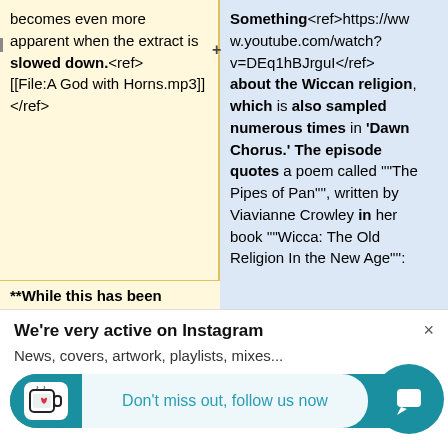becomes even more apparent when the extract is slowed down.<ref>[[File:A God with Horns.mp3]]</ref>
Something<ref>https://www.youtube.com/watch?v=DEq1hBJrguI</ref> about the Wiccan religion, which is also sampled numerous times in 'Dawn Chorus.' The episode quotes a poem called ""The Pipes of Pan"", written by Viavianne Crowley in her book ""Wicca: The Old Religion In the New Age"":
**While this has been
We're very active on Instagram
News, covers, artwork, playlists, mixes...
Don't miss out, follow us now